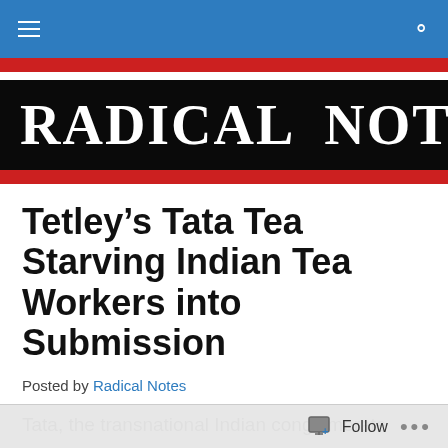Radical Notes — navigation bar
[Figure (logo): Radical Notes logo: white bold serif text 'RADICAL NOTES' with a red star on black background]
Tetley’s Tata Tea Starving Indian Tea Workers into Submission
Posted by Radical Notes
Tata, the transnational Indian conglomerate whose Tetley Group makes the world famous Tetley teas, has taken 6,500 people hostage through hunger. The hostages are